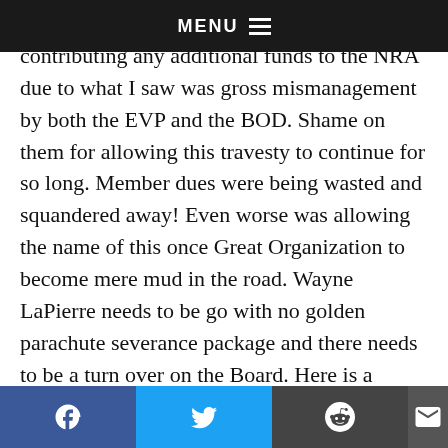MENU
membership dues, but I could and did stop contributing any additional funds to the NRA due to what I saw was gross mismanagement by both the EVP and the BOD. Shame on them for allowing this travesty to continue for so long. Member dues were being wasted and squandered away! Even worse was allowing the name of this once Great Organization to become mere mud in the road. Wayne LaPierre needs to be go with no golden parachute severance package and there needs to be a turn over on the Board. Here is a strange idea……TERM LIMITS. I was on a board which the bylaws stated board members were limited to two three year terms, after which they had to be off the [board for a period befo]re they could be
Facebook Twitter Reddit Email